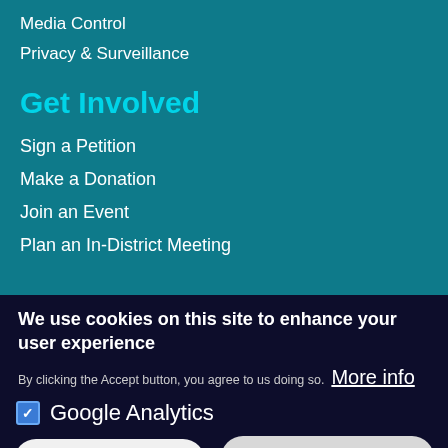Media Control
Privacy & Surveillance
Get Involved
Sign a Petition
Make a Donation
Join an Event
Plan an In-District Meeting
We use cookies on this site to enhance your user experience
By clicking the Accept button, you agree to us doing so. More info
Google Analytics
Save preferences
Accept all cookies